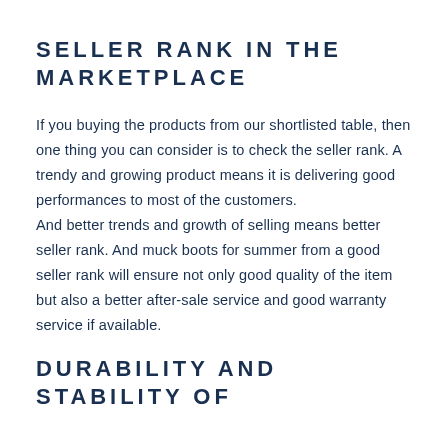SELLER RANK IN THE MARKETPLACE
If you buying the products from our shortlisted table, then one thing you can consider is to check the seller rank. A trendy and growing product means it is delivering good performances to most of the customers.
And better trends and growth of selling means better seller rank. And muck boots for summer from a good seller rank will ensure not only good quality of the item but also a better after-sale service and good warranty service if available.
DURABILITY AND STABILITY OF